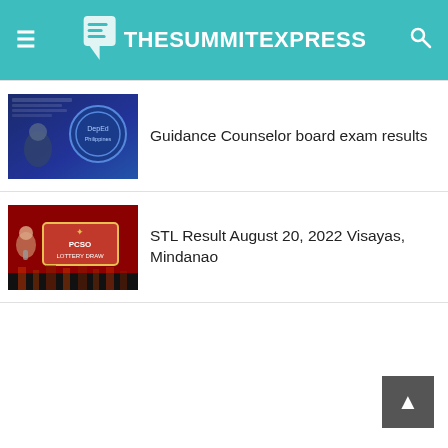TheSummitExpress
Guidance Counselor board exam results
STL Result August 20, 2022 Visayas, Mindanao